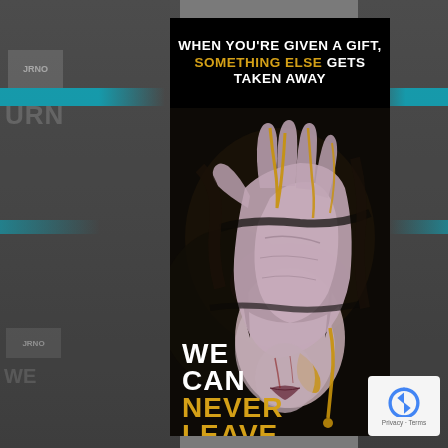[Figure (illustration): Motivational/inspirational poster image. Top black bar with white and gold text reading 'WHEN YOU'RE GIVEN A GIFT, SOMETHING ELSE GETS TAKEN AWAY'. Below is a dark expressionist oil painting of a person's face obscured by a large hand pressed over it, with gold paint drips. Bottom left overlay text reads 'WE CAN NEVER LEAVE' in white and gold uppercase letters. Background shows blurred repeated versions of the same poster. A reCAPTCHA badge appears bottom right.]